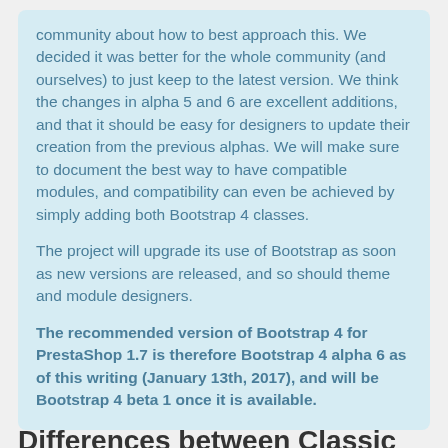community about how to best approach this. We decided it was better for the whole community (and ourselves) to just keep to the latest version. We think the changes in alpha 5 and 6 are excellent additions, and that it should be easy for designers to update their creation from the previous alphas. We will make sure to document the best way to have compatible modules, and compatibility can even be achieved by simply adding both Bootstrap 4 classes.
The project will upgrade its use of Bootstrap as soon as new versions are released, and so should theme and module designers.
The recommended version of Bootstrap 4 for PrestaShop 1.7 is therefore Bootstrap 4 alpha 6 as of this writing (January 13th, 2017), and will be Bootstrap 4 beta 1 once it is available.
Differences between Classic